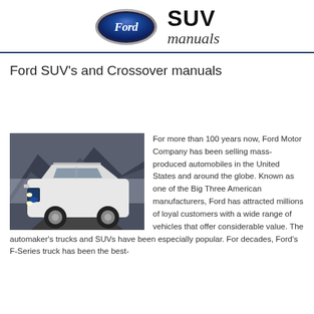[Figure (logo): Ford oval logo in blue with silver border and 'Ford' script in white, next to 'SUV manuals' text where SUV is bold sans-serif and manuals is italic serif]
Ford SUV's and Crossover manuals
[Figure (photo): White Ford Explorer SUV photographed from the front on a road with misty mountain background]
For more than 100 years now, Ford Motor Company has been selling mass-produced automobiles in the United States and around the globe. Known as one of the Big Three American manufacturers, Ford has attracted millions of loyal customers with a wide range of vehicles that offer considerable value. The automaker's trucks and SUVs have been especially popular. For decades, Ford's F-Series truck has been the best-